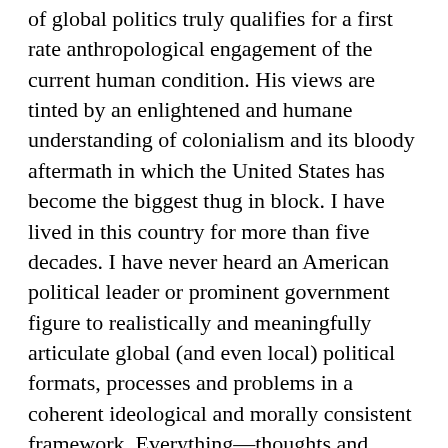of global politics truly qualifies for a first rate anthropological engagement of the current human condition. His views are tinted by an enlightened and humane understanding of colonialism and its bloody aftermath in which the United States has become the biggest thug in block. I have lived in this country for more than five decades. I have never heard an American political leader or prominent government figure to realistically and meaningfully articulate global (and even local) political formats, processes and problems in a coherent ideological and morally consistent framework. Everything—thoughts and actions—that originate in the political apparatus of the United States invite the label uninformed, contradictory, delusional, provincial, and uncouth. Barak Obama's speech last night contains all these characteristics. For example he states: “for nearly seven decades, the United States has been the